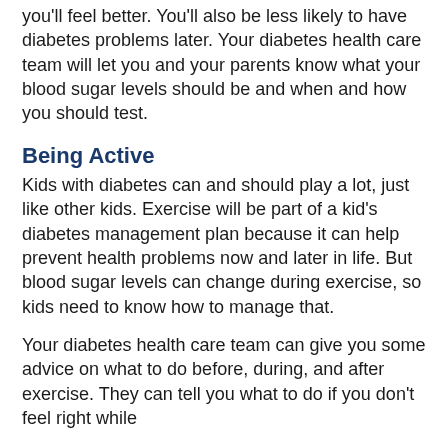you'll feel better. You'll also be less likely to have diabetes problems later. Your diabetes health care team will let you and your parents know what your blood sugar levels should be and when and how you should test.
Being Active
Kids with diabetes can and should play a lot, just like other kids. Exercise will be part of a kid's diabetes management plan because it can help prevent health problems now and later in life. But blood sugar levels can change during exercise, so kids need to know how to manage that.
Your diabetes health care team can give you some advice on what to do before, during, and after exercise. They can tell you what to do if you don't feel right while